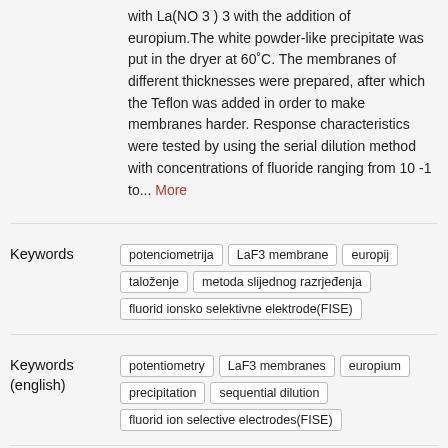with La(NO 3 ) 3 with the addition of europium.The white powder-like precipitate was put in the dryer at 60°C. The membranes of different thicknesses were prepared, after which the Teflon was added in order to make membranes harder. Response characteristics were tested by using the serial dilution method with concentrations of fluoride ranging from 10 -1 to... More
Keywords
potenciometrija
LaF3 membrane
europij
taloženje
metoda slijednog razrjeđenja
fluorid ionsko selektivne elektrode(FISE)
Keywords (english)
potentiometry
LaF3 membranes
europium
precipitation
sequential dilution
fluorid ion selective electrodes(FISE)
Language
croatian